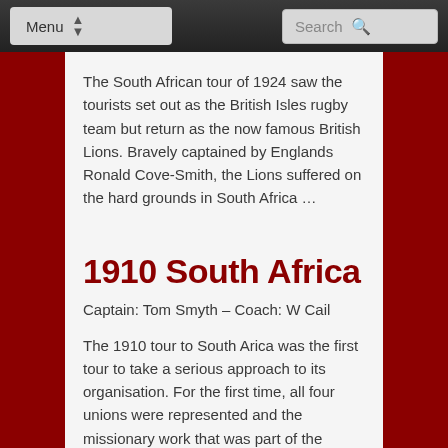Menu | Search
The South African tour of 1924 saw the tourists set out as the British Isles rugby team but return as the now famous British Lions. Bravely captained by Englands Ronald Cove-Smith, the Lions suffered on the hard grounds in South Africa …
1910 South Africa
Captain: Tom Smyth – Coach: W Cail
The 1910 tour to South Arica was the first tour to take a serious approach to its organisation. For the first time, all four unions were represented and the missionary work that was part of the previous tours was no longer